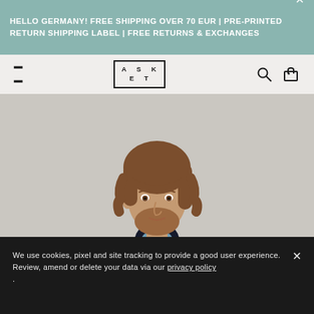HELLO GERMANY! FREE SHIPPING OVER 70 EUR | PRE-PRINTED RETURN SHIPPING LABEL | FREE RETURNS & EXCHANGES
[Figure (logo): ASKET brand logo in a bordered box]
[Figure (photo): Man with brown medium-length hair and beard wearing a dark navy crewneck sweater over a light blue chambray shirt, photographed against a light grey background]
We use cookies, pixel and site tracking to provide a good user experience. Review, amend or delete your data via our privacy policy .